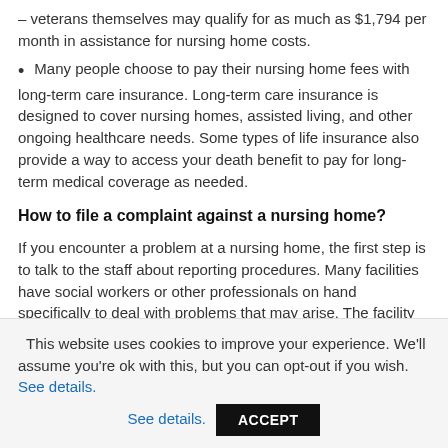– veterans themselves may qualify for as much as $1,794 per month in assistance for nursing home costs.
Many people choose to pay their nursing home fees with long-term care insurance. Long-term care insurance is designed to cover nursing homes, assisted living, and other ongoing healthcare needs. Some types of life insurance also provide a way to access your death benefit to pay for long-term medical coverage as needed.
How to file a complaint against a nursing home?
If you encounter a problem at a nursing home, the first step is to talk to the staff about reporting procedures. Many facilities have social workers or other professionals on hand specifically to deal with problems that may arise. The facility should also have a procedure in place to report problems internally. If the problem isn't
This website uses cookies to improve your experience. We'll assume you're ok with this, but you can opt-out if you wish. See details.